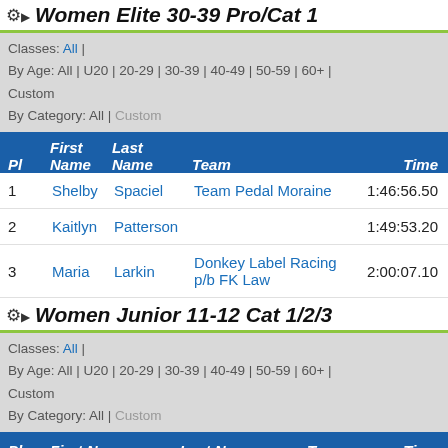Women Elite 30-39 Pro/Cat 1
Classes: All | By Age: All | U20 | 20-29 | 30-39 | 40-49 | 50-59 | 60+ | Custom By Category: All | Custom
| Pl | First Name | Last Name | Team | Time |
| --- | --- | --- | --- | --- |
| 1 | Shelby | Spaciel | Team Pedal Moraine | 1:46:56.50 |
| 2 | Kaitlyn | Patterson |  | 1:49:53.20 |
| 3 | Maria | Larkin | Donkey Label Racing p/b FK Law | 2:00:07.10 |
Women Junior 11-12 Cat 1/2/3
Classes: All | By Age: All | U20 | 20-29 | 30-39 | 40-49 | 50-59 | 60+ | Custom By Category: All | Custom
| Pl | First Name | Last Name | Team | Time |
| --- | --- | --- | --- | --- |